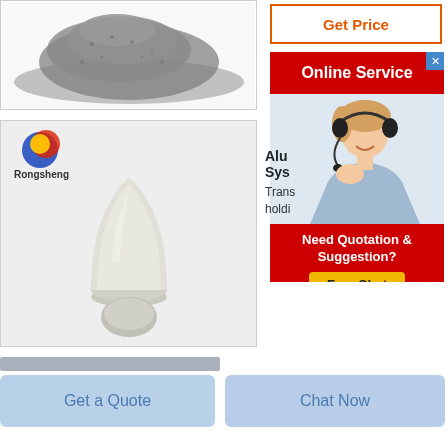[Figure (photo): Gray powder material pile on white background]
[Figure (photo): Rongsheng brand logo with bullet-shaped white powder specimen on light background]
[Figure (screenshot): Get Price button with orange border and text]
[Figure (screenshot): Online Service chat widget with red header, close X, female agent photo with headset, Need Quotation & Suggestion? Free Chat button]
Alu Sys Trans holdi
[Figure (screenshot): Horizontal scrollbar gray bar]
[Figure (screenshot): Get a Quote button (light blue)]
[Figure (screenshot): Chat Now button (light blue)]